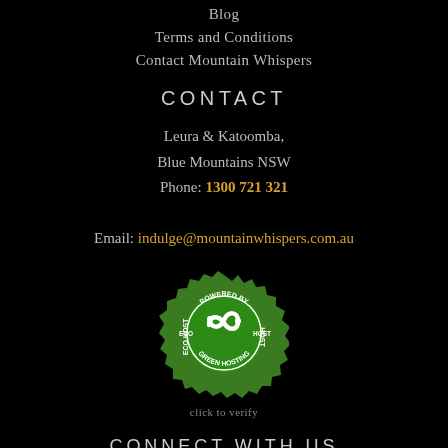Blog
Terms and Conditions
Contact Mountain Whispers
CONTACT
Leura & Katoomba,
Blue Mountains NSW
Phone: 1300 721 321
Email: indulge@mountainwhispers.com.au
[Figure (logo): Green eco hosting badge — circular green badge with a stylized infinity/loop icon in the center, text 'POWERED BY ECO HOST GREEN HOSTING' around the edge, with green decorative border elements]
click to verify
CONNECT WITH US